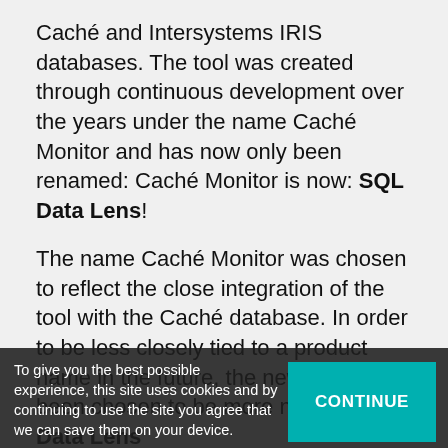Caché and Intersystems IRIS databases. The tool was created through continuous development over the years under the name Caché Monitor and has now only been renamed: Caché Monitor is now: SQL Data Lens!
The name Caché Monitor was chosen to reflect the close integration of the tool with the Caché database. In order to be less closely tied to a product name in the future, the new name has been chosen to be more neutral: SQL Data Lens
Regardless of the name, it is still the goal to implement the closest possible integration into the Intersystems products. The ongoing development is also reflected in the continuation of the release numbers: The last version is Caché Monitor 2.96; the latest version of [SQL Data Lens] is 3.x.
To give you the best possible experience, this site uses cookies and by continuing to use the site you agree that we can save them on your device.
SQL Data Lens specifically optimized for unique InterSystems IRIS & Caché features. It combines many